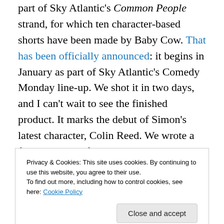part of Sky Atlantic's Common People strand, for which ten character-based shorts have been made by Baby Cow. That has been officially announced: it begins in January as part of Sky Atlantic's Comedy Monday line-up. We shot it in two days, and I can't wait to see the finished product. It marks the debut of Simon's latest character, Colin Reed. We wrote a film about him for C4, years ago, which was put into development and then cancelled before it went into production after one of those pesky management changes that happen all the time. We have always been determined to get Colin out there, and thanks to Sky, and
Privacy & Cookies: This site uses cookies. By continuing to use this website, you agree to their use. To find out more, including how to control cookies, see here: Cookie Policy
Close and accept
be finding its funky, irreverent soul